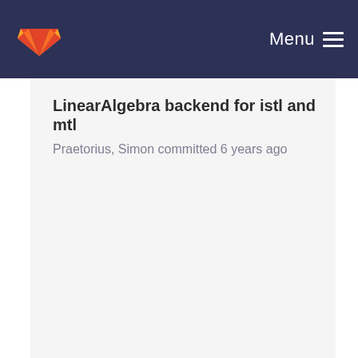Menu
LinearAlgebra backend for istl and mtl
Praetorius, Simon committed 6 years ago